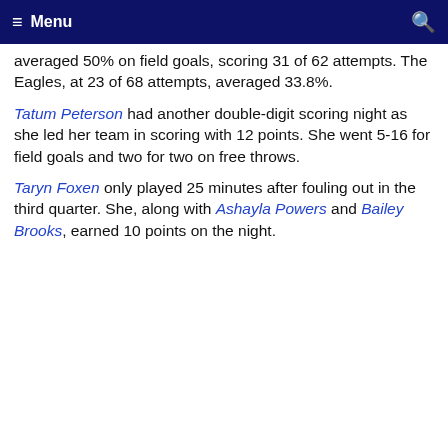≡ Menu
averaged 50% on field goals, scoring 31 of 62 attempts. The Eagles, at 23 of 68 attempts, averaged 33.8%.
Tatum Peterson had another double-digit scoring night as she led her team in scoring with 12 points. She went 5-16 for field goals and two for two on free throws.
Taryn Foxen only played 25 minutes after fouling out in the third quarter. She, along with Ashayla Powers and Bailey Brooks, earned 10 points on the night.